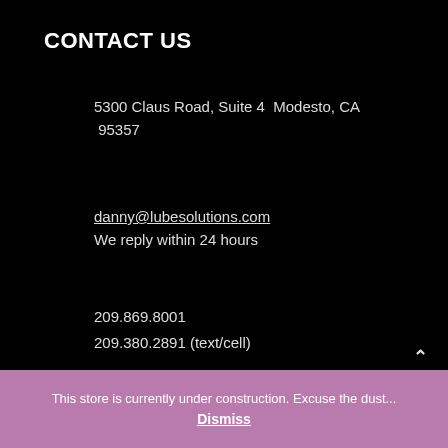CONTACT US
5300 Claus Road, Suite 4  Modesto, CA 95357
danny@lubesolutions.com
We reply within 24 hours
209.869.8001
209.380.2891 (text/cell)
MAIN MENU
This store is currently under construction. Excuse the dust...
Dismiss